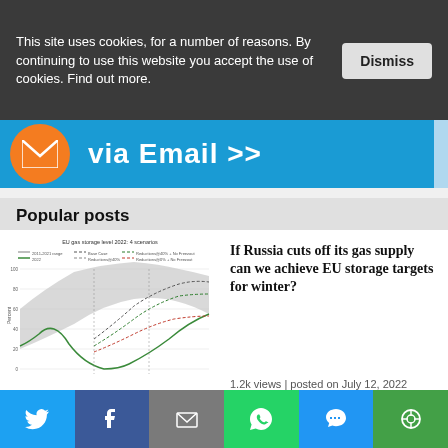This site uses cookies, for a number of reasons. By continuing to use this website you accept the use of cookies. Find out more.
[Figure (other): Blue email subscription banner with orange circle envelope icon and text 'via Email >>']
Popular posts
[Figure (line-chart): EU gas storage level 2022: 4 scenarios — multiple dashed lines on area chart showing percent over time]
If Russia cuts off its gas supply can we achieve EU storage targets for winter?
1.2k views | posted on July 12, 2022
[Figure (photo): Partial photo of a person in a suit]
Deep
[Figure (infographic): Social sharing bar with Twitter, Facebook, Email, WhatsApp, SMS, and copy link buttons]